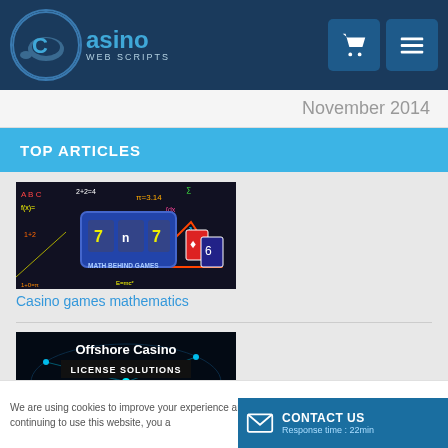Casino Web Scripts
November 2014
TOP ARTICLES
[Figure (screenshot): Math behind games image with slot machine 7|n|7 and equations on dark background]
Casino games mathematics
[Figure (screenshot): Offshore Casino License Solutions image with world map on dark background]
How to Obtain Offshore Gambling License for Online Casino
We are using cookies to improve your experience and our services. By continuing to use this website, you a
I agree!
CONTACT US
Response time : 22min